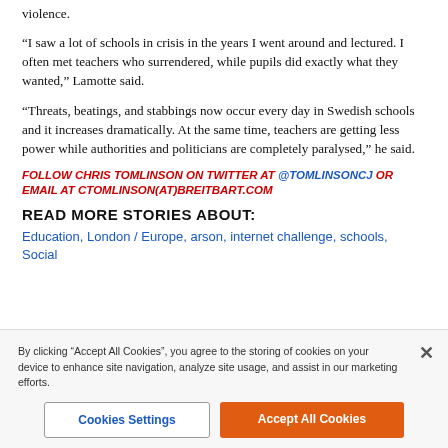violence.
“I saw a lot of schools in crisis in the years I went around and lectured. I often met teachers who surrendered, while pupils did exactly what they wanted,” Lamotte said.
“Threats, beatings, and stabbings now occur every day in Swedish schools and it increases dramatically. At the same time, teachers are getting less power while authorities and politicians are completely paralysed,” he said.
FOLLOW CHRIS TOMLINSON ON TWITTER AT @TOMLINSONCJ OR EMAIL AT CTOMLINSON(AT)BREITBART.COM
READ MORE STORIES ABOUT:
Education, London / Europe, arson, internet challenge, schools, Social
By clicking “Accept All Cookies”, you agree to the storing of cookies on your device to enhance site navigation, analyze site usage, and assist in our marketing efforts.
Cookies Settings
Accept All Cookies